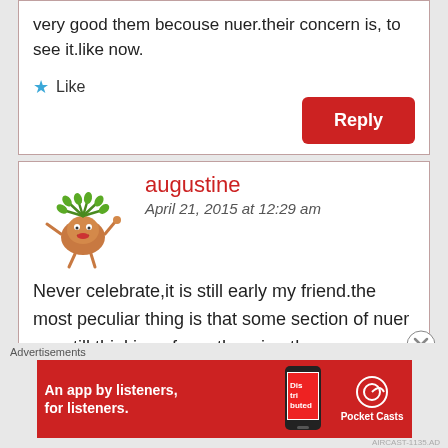very good them becouse nuer.their concern is, to see it.like now.
★ Like
Reply
augustine
April 21, 2015 at 12:29 am
Never celebrate,it is still early my friend.the most peculiar thing is that some section of nuer are still thinking of overthrowing the president.you miss your chance which was 15 dec 2013 but am quite sure you couldn't
Advertisements
[Figure (screenshot): Pocket Casts advertisement banner: 'An app by listeners, for listeners.' with phone image and Pocket Casts logo on red background]